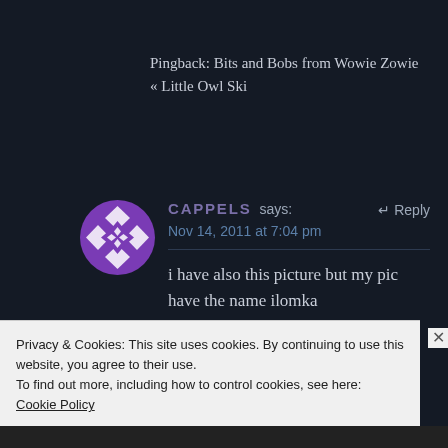Pingback: Bits and Bobs from Wowie Zowie « Little Owl Ski
CAPPELS says:
Nov 14, 2011 at 7:04 pm
i have also this picture but my pic have the name ilomka
Privacy & Cookies: This site uses cookies. By continuing to use this website, you agree to their use.
To find out more, including how to control cookies, see here: Cookie Policy
Close and accept